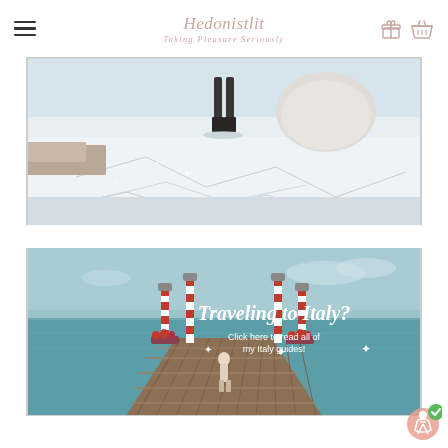Hedonistlit - Taking Pleasure Seriously
[Figure (photo): Person in dark boots standing on a cracked snowy/salt flat surface with a large white boulder in the background]
[Figure (photo): Wooden pier with red and white striped poles in Venice, Italy; text overlay reads 'Traveling to Italy? Click here to read all of my Italy guides!']